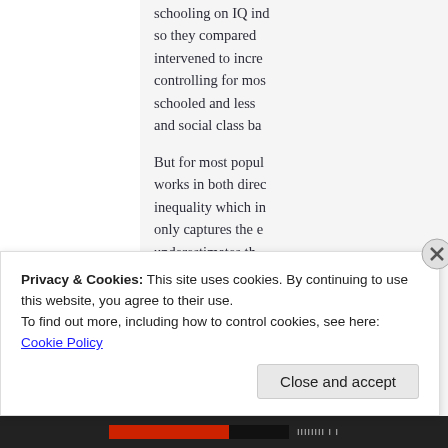schooling on IQ independently, so they compared intervened to increase controlling for most schooled and less and social class ba
But for most populations works in both directions inequality which in only captures the e underestimates th schooled (though a because the IQ sch accelerated, n
Privacy & Cookies: This site uses cookies. By continuing to use this website, you agree to their use. To find out more, including how to control cookies, see here: Cookie Policy
Close and accept